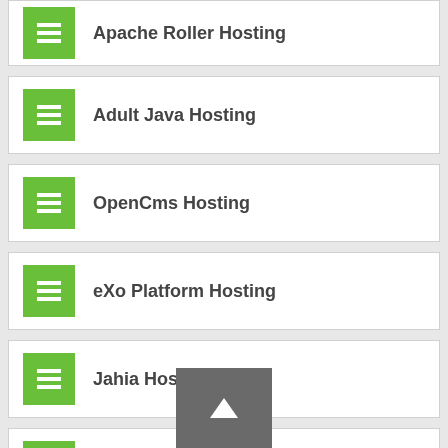Apache Roller Hosting
Adult Java Hosting
OpenCms Hosting
eXo Platform Hosting
Jahia Hosting
dotCMS Hosting
LogicalDOC Hosting